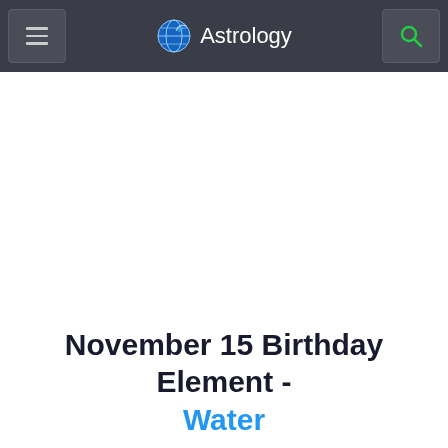Astrology
November 15 Birthday Element - Water